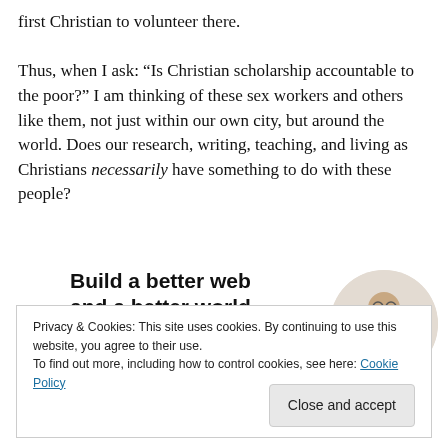first Christian to volunteer there.
Thus, when I ask: “Is Christian scholarship accountable to the poor?” I am thinking of these sex workers and others like them, not just within our own city, but around the world. Does our research, writing, teaching, and living as Christians necessarily have something to do with these people?
[Figure (infographic): Advertisement banner: 'Build a better web and a better world.' with an Apply button and a circular photo of a person]
Privacy & Cookies: This site uses cookies. By continuing to use this website, you agree to their use.
To find out more, including how to control cookies, see here: Cookie Policy
Close and accept